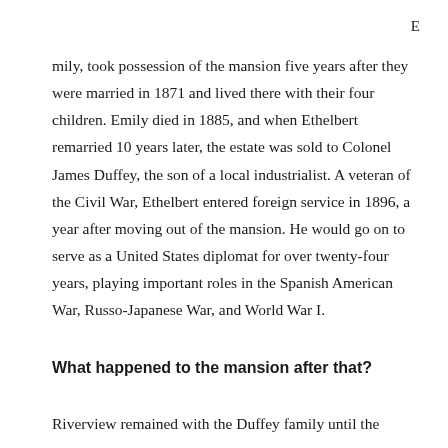E
mily, took possession of the mansion five years after they were married in 1871 and lived there with their four children. Emily died in 1885, and when Ethelbert remarried 10 years later, the estate was sold to Colonel James Duffey, the son of a local industrialist. A veteran of the Civil War, Ethelbert entered foreign service in 1896, a year after moving out of the mansion. He would go on to serve as a United States diplomat for over twenty-four years, playing important roles in the Spanish American War, Russo-Japanese War, and World War I.
What happened to the mansion after that?
Riverview remained with the Duffey family until the